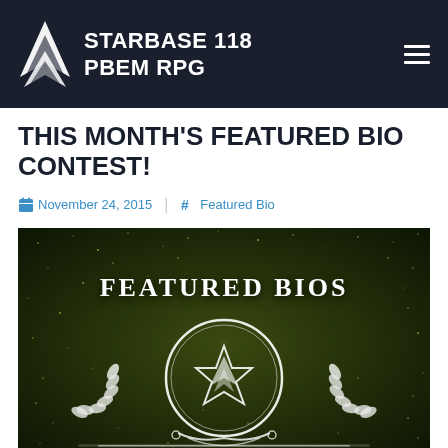STARBASE 118 PBEM RPG
THIS MONTH'S FEATURED BIO CONTEST!
November 24, 2015  # Featured Bio
[Figure (illustration): Dark space-themed image with green-gold particle stars background. White text reads 'FEATURED BIOS' at top. Below is a Starfleet-style emblem with a laurel wreath, circular ring, and a star/arrow insignia inside. A horizontal glowing bar runs across the bottom.]